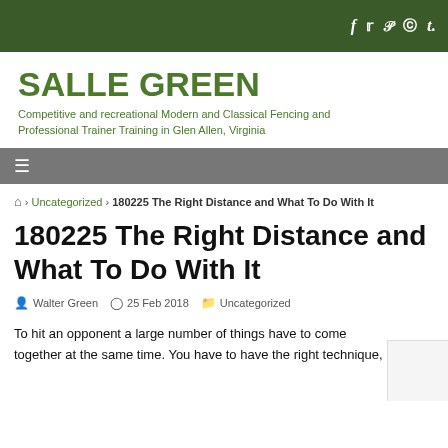Social icons: f, twitter, pinterest, instagram, tumblr
SALLE GREEN
Competitive and recreational Modern and Classical Fencing and Professional Trainer Training in Glen Allen, Virginia
≡ (navigation menu)
🏠 > Uncategorized > 180225 The Right Distance and What To Do With It
180225 The Right Distance and What To Do With It
Walter Green   25 Feb 2018   Uncategorized
To hit an opponent a large number of things have to come together at the same time. You have to have the right technique,